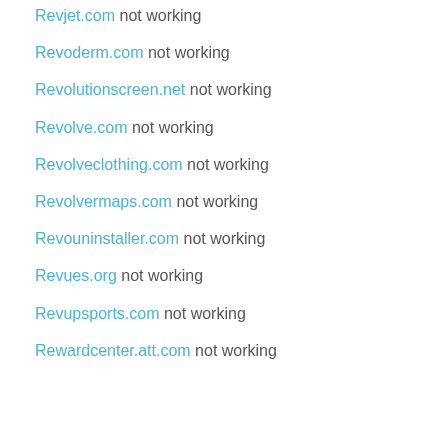Revjet.com not working
Revoderm.com not working
Revolutionscreen.net not working
Revolve.com not working
Revolveclothing.com not working
Revolvermaps.com not working
Revouninstaller.com not working
Revues.org not working
Revupsports.com not working
Rewardcenter.att.com not working